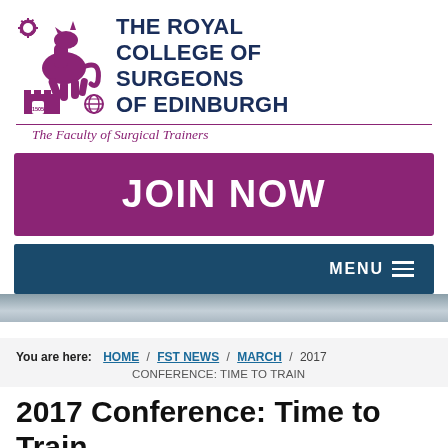[Figure (logo): The Royal College of Surgeons of Edinburgh logo with purple unicorn and castle, text: THE ROYAL COLLEGE OF SURGEONS OF EDINBURGH, The Faculty of Surgical Trainers]
[Figure (other): Purple JOIN NOW button banner]
[Figure (other): Dark teal MENU navigation bar with hamburger icon]
[Figure (photo): Partial photo strip of people/conference attendees]
You are here: HOME / FST NEWS / MARCH / 2017 CONFERENCE: TIME TO TRAIN
2017 Conference: Time to Train
8 March 2017